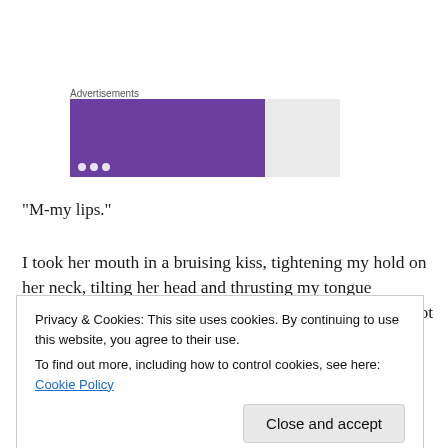[Figure (other): Advertisement banner with purple background and gray area]
“M-my lips.”
I took her mouth in a bruising kiss, tightening my hold on her neck, tilting her head and thrusting my tongue between her lips that tasted of strawberries and cream. Not just innocent, but fucking untried in every way — she
Privacy & Cookies: This site uses cookies. By continuing to use this website, you agree to their use.
To find out more, including how to control cookies, see here: Cookie Policy
little temptress was. I owned her pussy,